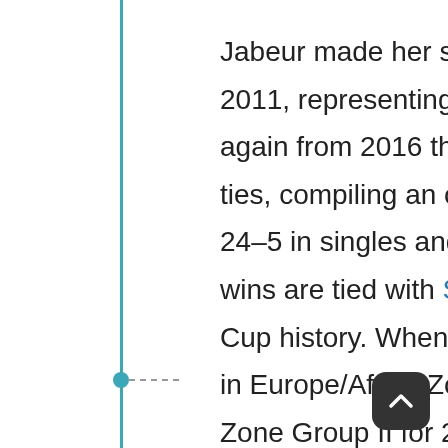Jabeur made her senior Fed Cup debut for Tunisia in 2011, representing the team from 2011 to 2013, and again from 2016 through 2019. She has played in 29 ties, compiling an overall record of 32–11 split between 24–5 in singles and 8–6 and doubles. Her 24 singles wins are tied with Selima Sfar for the most in Tunisia Fed Cup history. When Jabeur debuted for Tunisia, they were in Europe/Africa Zone Group III. They were promoted to Zone Group II for 2013 after winning all five of their round robin ties and a play-off tie against Ireland in 2012. They were again promoted to Zone Group I for 2014 the